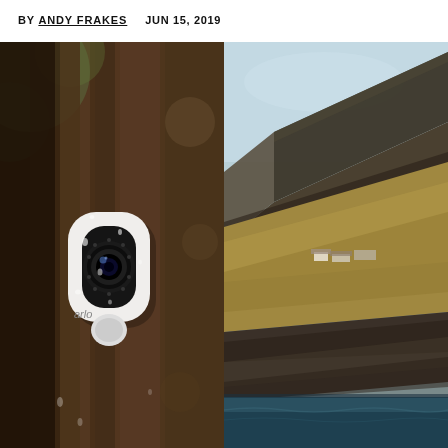BY ANDY FRAKES   JUN 15, 2019
[Figure (photo): Left half: Close-up photo of a white Arlo security camera mounted on a tree, with rain droplets visible on the camera body. Blurred brown tree bark fills the background.]
[Figure (photo): Right half: Aerial landscape photo of a dramatic flat-topped mountain (mesa) with steep dark cliffs descending to the ocean, golden-brown moorland, a few white buildings, and a pale blue sky.]